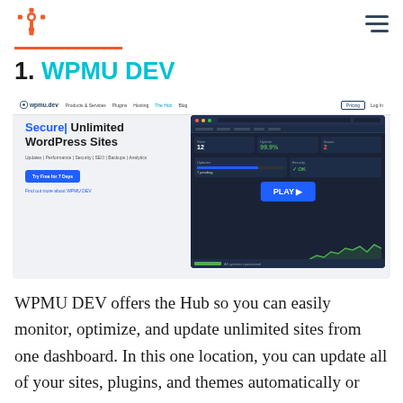HubSpot logo and navigation menu
1. WPMU DEV
[Figure (screenshot): Screenshot of WPMU DEV website showing navigation bar with logo, Products & Services, Plugins, Hosting, The Hub, Blog links, and a hero section with 'Secure| Unlimited WordPress Sites' heading, subtext 'Updates | Performance | Security | SEO | Backups | Analytics', a 'Try Free for 7 Days' button, a 'Find out more about WPMU DEV' link, and a dashboard mockup with a PLAY button overlay on the right side.]
WPMU DEV offers the Hub so you can easily monitor, optimize, and update unlimited sites from one dashboard. In this one location, you can update all of your sites, plugins, and themes automatically or